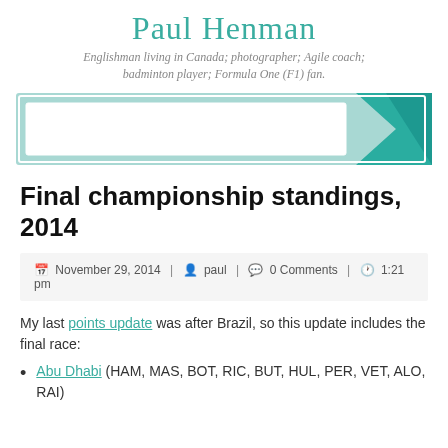Paul Henman
Englishman living in Canada; photographer; Agile coach; badminton player; Formula One (F1) fan.
[Figure (other): Search bar with teal background and magnifying glass icon, with teal triangle accent on right side]
Final championship standings, 2014
November 29, 2014 | paul | 0 Comments | 1:21 pm
My last points update was after Brazil, so this update includes the final race:
Abu Dhabi (HAM, MAS, BOT, RIC, BUT, HUL, PER, VET, ALO, RAI)